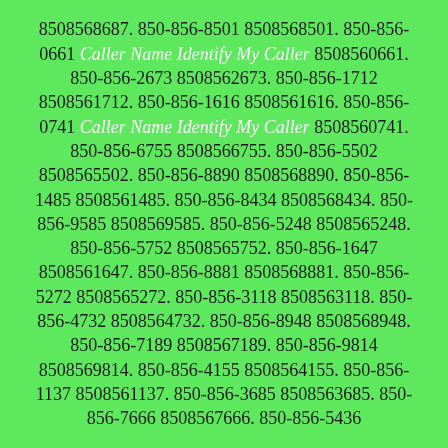8508568687. 850-856-8501 8508568501. 850-856-0661 Caller Name Identify My Caller 8508560661. 850-856-2673 8508562673. 850-856-1712 8508561712. 850-856-1616 8508561616. 850-856-0741 Caller Name Identify My Caller 8508560741. 850-856-6755 8508566755. 850-856-5502 8508565502. 850-856-8890 8508568890. 850-856-1485 8508561485. 850-856-8434 8508568434. 850-856-9585 8508569585. 850-856-5248 8508565248. 850-856-5752 8508565752. 850-856-1647 8508561647. 850-856-8881 8508568881. 850-856-5272 8508565272. 850-856-3118 8508563118. 850-856-4732 8508564732. 850-856-8948 8508568948. 850-856-7189 8508567189. 850-856-9814 8508569814. 850-856-4155 8508564155. 850-856-1137 8508561137. 850-856-3685 8508563685. 850-856-7666 8508567666. 850-856-5436